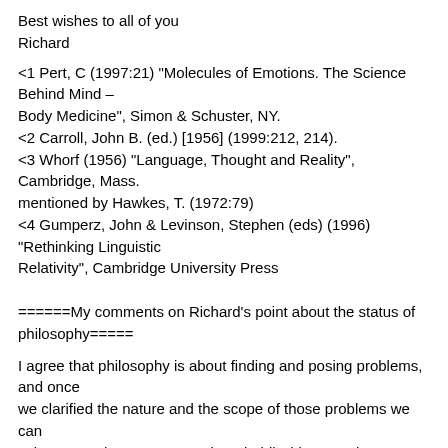Best wishes to all of you
Richard
<1 Pert, C (1997:21) "Molecules of Emotions. The Science Behind Mind –
Body Medicine", Simon & Schuster, NY.
<2 Carroll, John B. (ed.) [1956] (1999:212, 214).
<3 Whorf (1956) "Language, Thought and Reality", Cambridge, Mass.
mentioned by Hawkes, T. (1972:79)
<4 Gumperz, John & Levinson, Stephen (eds) (1996) "Rethinking Linguistic
Relativity", Cambridge University Press
======My comments on Richard's point about the status of philosophy=====
I agree that philosophy is about finding and posing problems, and once
we clarified the nature and the scope of those problems we can
subcontract them, to use Lucian Floridi's idea, to other